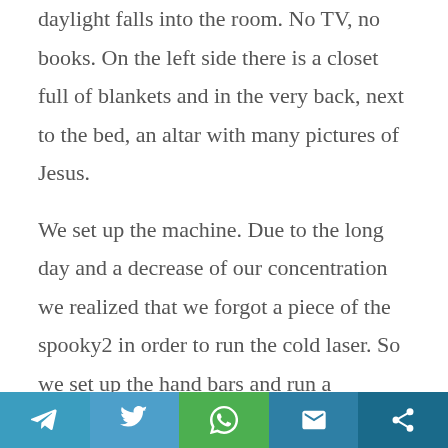daylight falls into the room. No TV, no books. On the left side there is a closet full of blankets and in the very back, next to the bed, an altar with many pictures of Jesus.

We set up the machine. Due to the long day and a decrease of our concentration we realized that we forgot a piece of the spooky2 in order to run the cold laser. So we set up the hand bars and run a program for brain functions. After half an hour I realized that we set up the wrong Port, so she didn't get any
[social share buttons: Telegram, Twitter, WhatsApp, Email, Share]